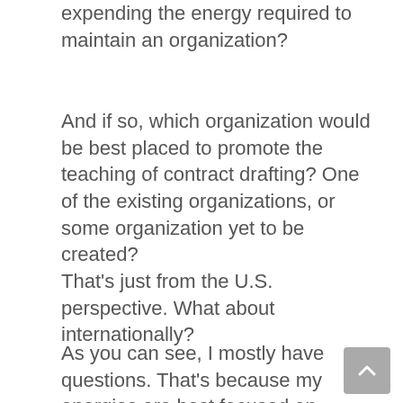expending the energy required to maintain an organization?
And if so, which organization would be best placed to promote the teaching of contract drafting? One of the existing organizations, or some organization yet to be created?
That’s just from the U.S. perspective. What about internationally?
As you can see, I mostly have questions. That’s because my energies are best focused on developing materials for teaching contract drafting. I leave to others the task of establishing, or strengthening, an organization to promote contract drafting.